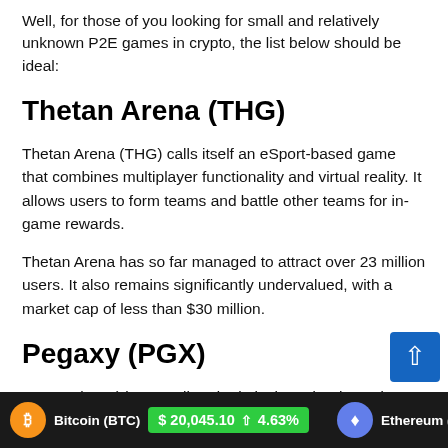Well, for those of you looking for small and relatively unknown P2E games in crypto, the list below should be ideal:
Thetan Arena (THG)
Thetan Arena (THG) calls itself an eSport-based game that combines multiplayer functionality and virtual reality. It allows users to form teams and battle other teams for in-game rewards.
Thetan Arena has so far managed to attract over 23 million users. It also remains significantly undervalued, with a market cap of less than $30 million.
Pegaxy (PGX)
Pegaxy (PGX) is a small and relatively under-the-radar play-to-earn game that allows players to earn and create real va…
Bitcoin (BTC) $20,045.10 ↑ 4.63% | Ethereum (ETH)